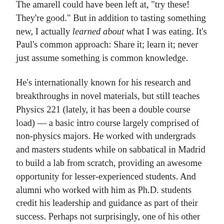The amarell could have been left at, 'try these! They're good.' But in addition to tasting something new, I actually learned about what I was eating. It's Paul's common approach: Share it; learn it; never just assume something is common knowledge.
He's internationally known for his research and breakthroughs in novel materials, but still teaches Physics 221 (lately, it has been a double course load) — a basic intro course largely comprised of non-physics majors. He worked with undergrads and masters students while on sabbatical in Madrid to build a lab from scratch, providing an awesome opportunity for lesser-experienced students. And alumni who worked with him as Ph.D. students credit his leadership and guidance as part of their success. Perhaps not surprisingly, one of his other awards is a Master Teacher Award from the College of Liberal Arts and Sciences.
In his lab, Paul teaches his students how to develop and dismantle arguments. Often, he leads the group...